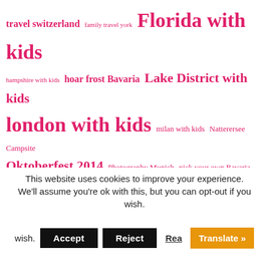[Figure (infographic): Tag cloud with travel-related tags in varying sizes, colored pink/magenta. Tags include: travel switzerland, family travel york, Florida with kids, hampshire with kids, hoar frost Bavaria, Lake District with kids, london with kids, milan with kids, Natterersee Campsite, Oktoberfest 2014, Photography Munich, pick your own Bavaria, pumpkins bavaria, repatriation, stockholm with kids, The Peak District with kids, things to do in Bavaria with children, things to do in Munich with children, Travel Bavaria, Travelling in Japan with Children, Venice with Kids, Vienna with children, what to do in Bavaria, what to see in]
This website uses cookies to improve your experience. We'll assume you're ok with this, but you can opt-out if you wish.
Accept  Reject  Read  Translate »